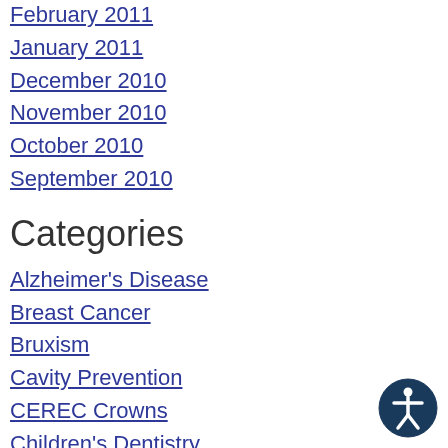February 2011
January 2011
December 2010
November 2010
October 2010
September 2010
Categories
Alzheimer's Disease
Breast Cancer
Bruxism
Cavity Prevention
CEREC Crowns
Children's Dentistry
Community Events
Cosmetic Dentistry